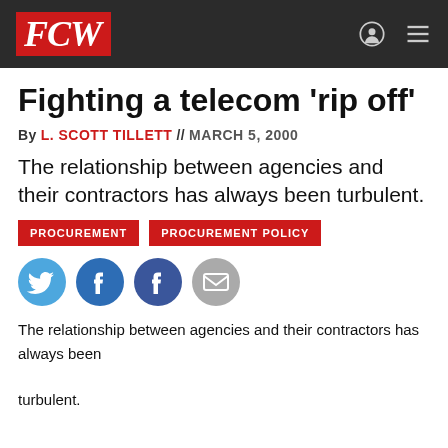FCW
Fighting a telecom 'rip off'
By L. SCOTT TILLETT // MARCH 5, 2000
The relationship between agencies and their contractors has always been turbulent.
PROCUREMENT   PROCUREMENT POLICY
[Figure (other): Social media share icons: Twitter, LinkedIn, Facebook, Email]
The relationship between agencies and their contractors has always been

turbulent.


But the relationship turned ugly last week when the government's